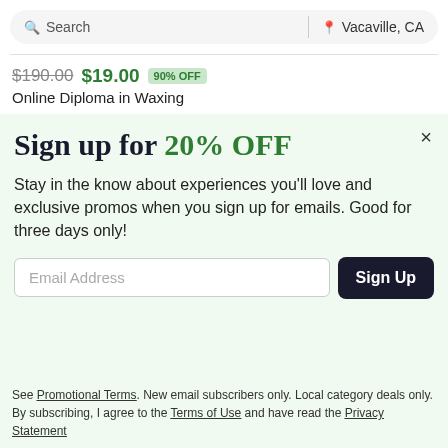Search | Vacaville, CA
$190.00 $19.00 90% OFF
Online Diploma in Waxing
Sign up for 20% OFF
Stay in the know about experiences you'll love and exclusive promos when you sign up for emails. Good for three days only!
Email Address  Sign Up
See Promotional Terms. New email subscribers only. Local category deals only. By subscribing, I agree to the Terms of Use and have read the Privacy Statement